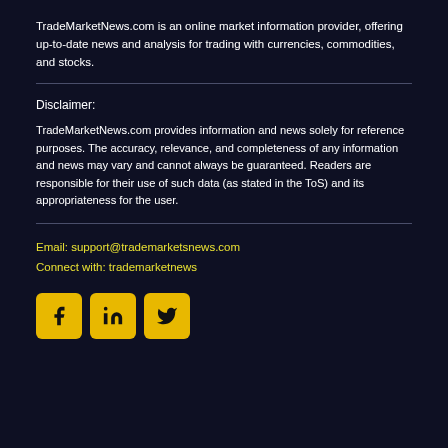TradeMarketNews.com is an online market information provider, offering up-to-date news and analysis for trading with currencies, commodities, and stocks.
Disclaimer:
TradeMarketNews.com provides information and news solely for reference purposes. The accuracy, relevance, and completeness of any information and news may vary and cannot always be guaranteed. Readers are responsible for their use of such data (as stated in the ToS) and its appropriateness for the user.
Email: support@trademarketsnews.com
Connect with: trademarketnews
[Figure (infographic): Three social media icon buttons (Facebook, LinkedIn, Twitter) displayed as yellow/golden rounded square icons with dark symbols]